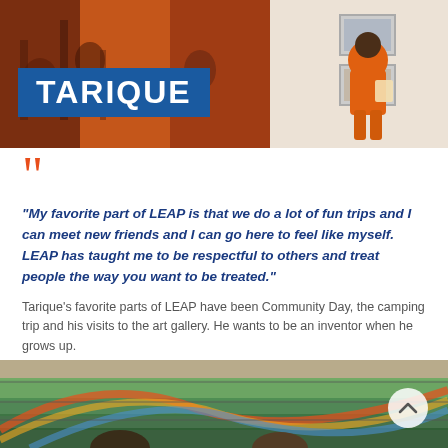[Figure (photo): Top photo: a child in an orange outfit looking at artwork in an art gallery, with colorful paintings visible on the left wall and framed artwork on the right white wall.]
TARIQUE
“My favorite part of LEAP is that we do a lot of fun trips and I can meet new friends and I can go here to feel like myself. LEAP has taught me to be respectful to others and treat people the way you want to be treated.”
Tarique’s favorite parts of LEAP have been Community Day, the camping trip and his visits to the art gallery. He wants to be an inventor when he grows up.
[Figure (photo): Bottom photo: a colorful painted mural on a brick wall with rainbow colors; children partially visible at the bottom edge. A circular scroll-up button is visible in the bottom right.]